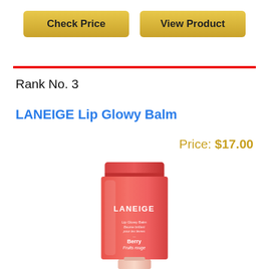Check Price
View Product
Rank No. 3
LANEIGE Lip Glowy Balm
Price: $17.00
[Figure (photo): LANEIGE Lip Glowy Balm product tube in coral/pink color with Berry Fruits rouge label]